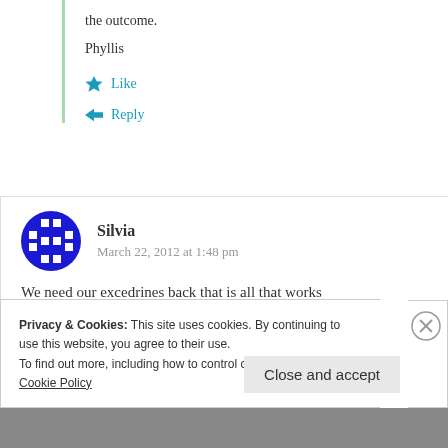the outcome.
Phyllis
Like
Reply
Silvia
March 22, 2012 at 1:48 pm
We need our excedrines back that is all that works
Privacy & Cookies: This site uses cookies. By continuing to use this website, you agree to their use. To find out more, including how to control cookies, see here: Cookie Policy
Close and accept